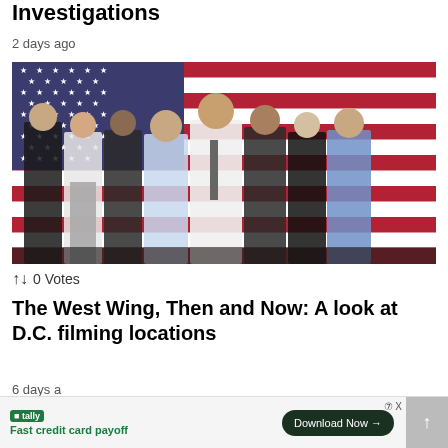Investigations
2 days ago
[Figure (photo): Cast of The West Wing TV show standing in front of an American flag backdrop — eight actors in formal attire posing together]
↑↓ 0 Votes
The West Wing, Then and Now: A look at D.C. filming locations
6 days a
tally
Fast credit card payoff
Download Now →
⑦ X